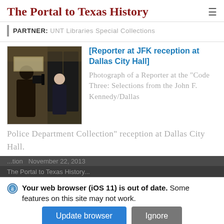The Portal to Texas History
PARTNER: UNT Libraries Special Collections
[Reporter at JFK reception at Dallas City Hall]
[Figure (photo): Black and white photograph showing a reporter with camera equipment at an indoor event, with a woman in a dark dress visible in the background near dark-colored doors or panels.]
Photograph of a Reporter at the "Code Three: Selections from the John F. Kennedy/Dallas Police Department Collection" reception at Dallas City Hall.
Your web browser (iOS 11) is out of date. Some features on this site may not work.
Update browser
Ignore